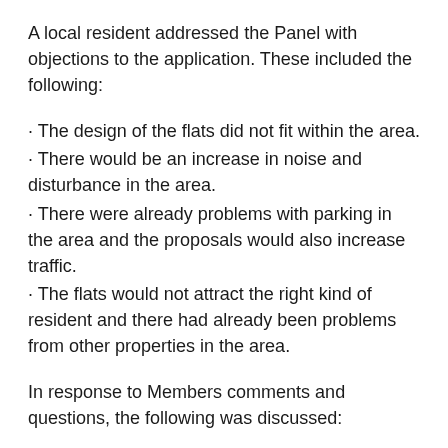A local resident addressed the Panel with objections to the application.  These included the following:
· The design of the flats did not fit within the area.
· There would be an increase in noise and disturbance in the area.
· There were already problems with parking in the area and the proposals would also increase traffic.
· The flats would not attract the right kind of resident and there had already been problems from other properties in the area.
In response to Members comments and questions, the following was discussed:
· Concern regarding proposals to have hedging